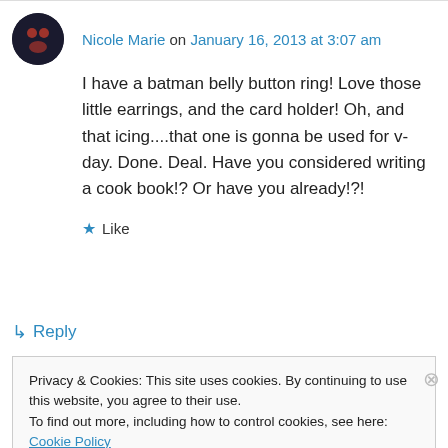Nicole Marie on January 16, 2013 at 3:07 am
I have a batman belly button ring! Love those little earrings, and the card holder! Oh, and that icing....that one is gonna be used for v-day. Done. Deal. Have you considered writing a cook book!? Or have you already!?!
★ Like
↳ Reply
Privacy & Cookies: This site uses cookies. By continuing to use this website, you agree to their use. To find out more, including how to control cookies, see here: Cookie Policy
Close and accept